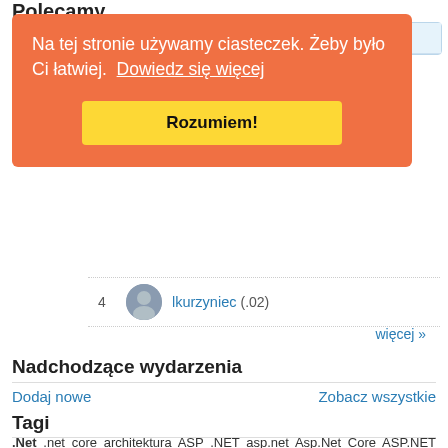Polecamy
Na tej stronie używamy ciasteczek. Żeby było Ci łatwiej.  Dowiedz się więcej
Rozumiem!
4  lkurzyniec (.02)
więcej »
Nadchodzące wydarzenia
Dodaj nowe
Zobacz wszystkie
Tagi
.Net .net core architektura ASP .NET asp.net Asp.Net Core ASP.NET MVC Azure C# C# .NET certyfikacja certyfikat cloud csharp daj sie poznac 2017 Daj się poznać Daj Się Poznać